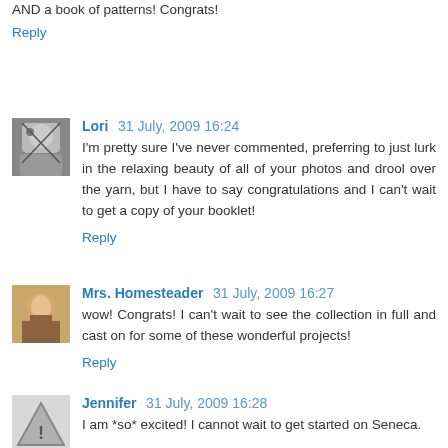AND a book of patterns! Congrats!
Reply
Lori 31 July, 2009 16:24
I'm pretty sure I've never commented, preferring to just lurk in the relaxing beauty of all of your photos and drool over the yarn, but I have to say congratulations and I can't wait to get a copy of your booklet!
Reply
Mrs. Homesteader 31 July, 2009 16:27
wow! Congrats! I can't wait to see the collection in full and cast on for some of these wonderful projects!
Reply
Jennifer 31 July, 2009 16:28
I am *so* excited! I cannot wait to get started on Seneca.